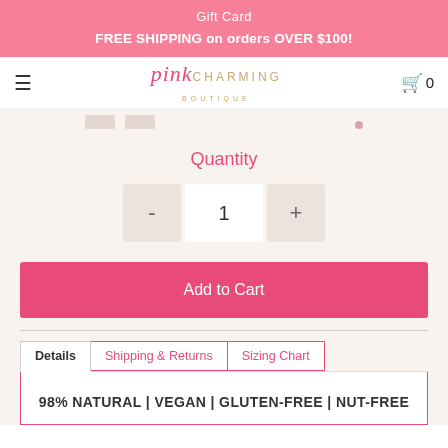Gift Card
FREE SHIPPING on orders OVER $100!
[Figure (logo): Pink Charming Boutique logo with pink script 'pink' and gold 'CHARMING BOUTIQUE' text]
Quantity
- 1 +
Add to Cart
Details | Shipping & Returns | Sizing Chart
98% NATURAL | VEGAN | GLUTEN-FREE | NUT-FREE